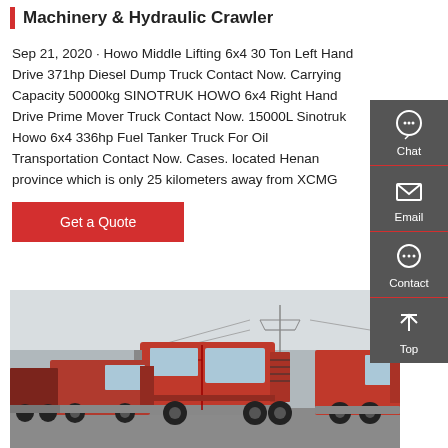Machinery & Hydraulic Crawler
Sep 21, 2020 · Howo Middle Lifting 6x4 30 Ton Left Hand Drive 371hp Diesel Dump Truck Contact Now. Carrying Capacity 50000kg SINOTRUK HOWO 6x4 Right Hand Drive Prime Mover Truck Contact Now. 15000L Sinotruk Howo 6x4 336hp Fuel Tanker Truck For Oil Transportation Contact Now. Cases. located Henan province which is only 25 kilometers away from XCMG
Get a Quote
[Figure (photo): Multiple red Sinotruk/Howo prime mover trucks parked in a lot with power lines and overcast sky in the background]